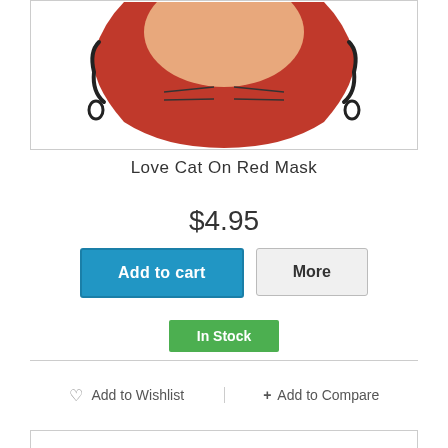[Figure (photo): Product photo showing a red face mask with a cat illustration on it, with black elastic straps on the sides. Only the bottom portion of the mask is visible.]
Love Cat On Red Mask
$4.95
Add to cart
More
In Stock
Add to Wishlist
+ Add to Compare